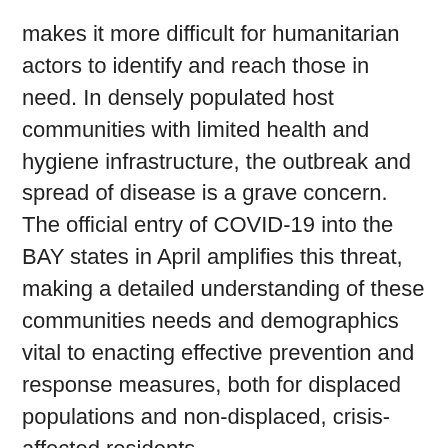makes it more difficult for humanitarian actors to identify and reach those in need. In densely populated host communities with limited health and hygiene infrastructure, the outbreak and spread of disease is a grave concern. The official entry of COVID-19 into the BAY states in April amplifies this threat, making a detailed understanding of these communities needs and demographics vital to enacting effective prevention and response measures, both for displaced populations and non-displaced, crisis-affected residents.
Informal settlements (ISETs) constitute an even further vulnerable subset of host communities. ISETs are typically characterized by poor infrastructure, residents' lack of secure housing or tenure, and social or physical marginalization from basic services. Consequently, residents of informal settlements may be subject to heightened vulnerability, including to harmful effects as a